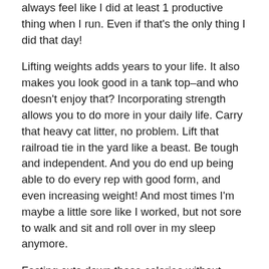always feel like I did at least 1 productive thing when I run. Even if that's the only thing I did that day!
Lifting weights adds years to your life. It also makes you look good in a tank top–and who doesn't enjoy that? Incorporating strength allows you to do more in your daily life. Carry that heavy cat litter, no problem. Lift that railroad tie in the yard like a beast. Be tough and independent. And you do end up being able to do every rep with good form, and even increasing weight! And most times I'm maybe a little sore like I worked, but not sore to walk and sit and roll over in my sleep anymore.
Fasting cuts down those calories without going without your favorite foods. You don't have to give up all carbs or stop drinking your wine. Fasting makes your mind more focused. It helps me lose weight more than any of the